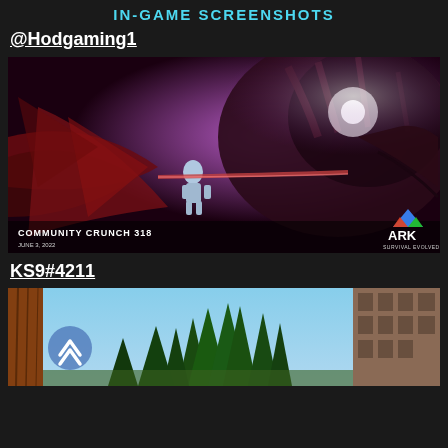IN-GAME SCREENSHOTS
@Hodgaming1
[Figure (screenshot): ARK Survival Evolved in-game screenshot showing a player character in a space suit facing a large dark red/purple dragon-like creature. Community Crunch 318 branding with ARK logo visible in bottom corners. Date: June 3, 2022.]
KS9#4211
[Figure (screenshot): In-game screenshot showing a forest scene with tall pine trees, a brick building visible on the right side, blue sky visible through the trees, and a semi-transparent scroll-up button visible on the left side.]